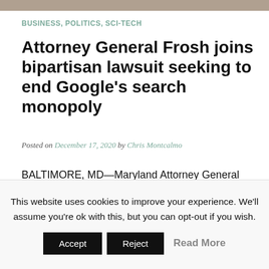[Figure (photo): Partial photo visible at top of page, cropped — appears to show a person or scene, only the bottom edge visible as a brown/grey bar.]
BUSINESS, POLITICS, SCI-TECH
Attorney General Frosh joins bipartisan lawsuit seeking to end Google's search monopoly
Posted on December 17, 2020 by Chris Montcalmo
BALTIMORE, MD—Maryland Attorney General Brian E. Frosh on Thursday joined a bipartisan coalition of 37 other attorneys general in suing Google LLC for anti-competitive conduct in violation of Section 2 of the Sherman Act. The states allege that Google illegally maintains its monopoly power over general search engines
This website uses cookies to improve your experience. We'll assume you're ok with this, but you can opt-out if you wish.